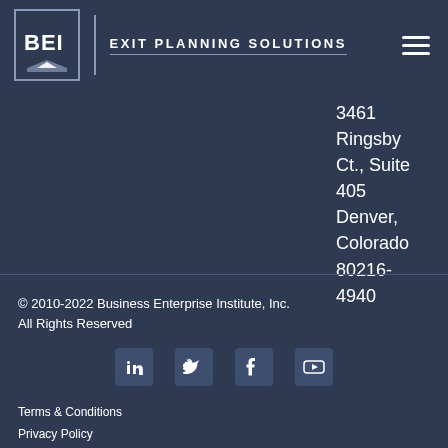[Figure (logo): BEI Exit Planning Solutions logo with BEI text in a bordered box and 'Exit Planning Solutions' text with underline]
3461 Ringsby Ct., Suite 405 Denver, Colorado 80216-4940
© 2010-2022 Business Enterprise Institute, Inc. All Rights Reserved
[Figure (infographic): Social media icons: LinkedIn, Twitter, Facebook, YouTube]
Terms & Conditions
Privacy Policy
Refund & Cancellation Policy